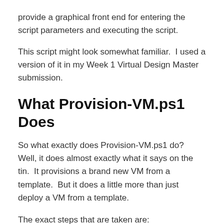provide a graphical front end for entering the script parameters and executing the script.
This script might look somewhat familiar.  I used a version of it in my Week 1 Virtual Design Master submission.
What Provision-VM.ps1 Does
So what exactly does Provision-VM.ps1 do?  Well, it does almost exactly what it says on the tin.  It provisions a brand new VM from a template.  But it does a little more than just deploy a VM from a template.
The exact steps that are taken are: